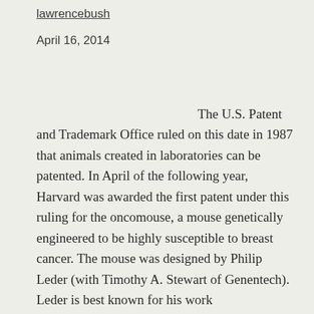lawrencebush
April 16, 2014
The U.S. Patent and Trademark Office ruled on this date in 1987 that animals created in laboratories can be patented. In April of the following year, Harvard was awarded the first patent under this ruling for the oncomouse, a mouse genetically engineered to be highly susceptible to breast cancer. The mouse was designed by Philip Leder (with Timothy A. Stewart of Genentech). Leder is best known for his work